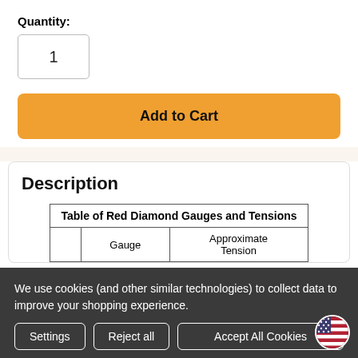Quantity:
1
Add to Cart
Description
|  | Gauge | Approximate Tension |
| --- | --- | --- |
We use cookies (and other similar technologies) to collect data to improve your shopping experience.
Settings
Reject all
Accept All Cookies